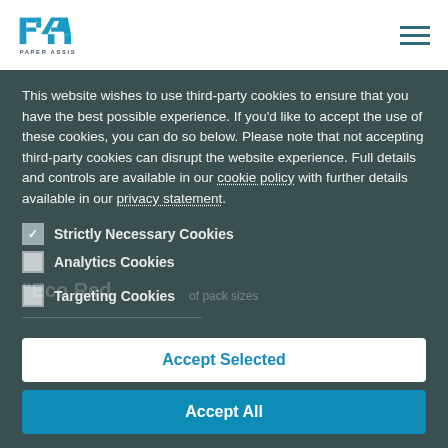[Figure (logo): Paper Assist logo with blue PA letters and 'PAPER ASSIST' text below]
This website wishes to use third-party cookies to ensure that you have the best possible experience. If you'd like to accept the use of these cookies, you can do so below. Please note that not accepting third-party cookies can disrupt the website experience. Full details and controls are available in our cookie policy with further details available in our privacy statement.
Strictly Necessary Cookies [checked]
Analytics Cookies [unchecked]
Targeting Cookies [unchecked]
Accept Selected
Accept All